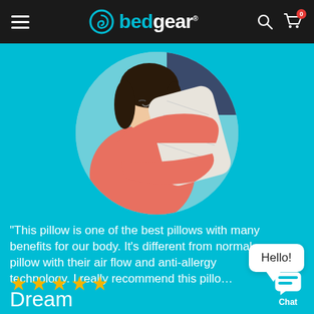bedgear (navigation bar with logo, search, cart)
[Figure (photo): Circular cropped photo of a smiling woman in a pink top hugging a white/cream quilted pillow against a teal/cyan background]
"This pillow is one of the best pillows with many benefits for our body. It's different from normal pillow with their air flow and anti-allergy technology. I really recommend this pillo...
★★★★★
Dream